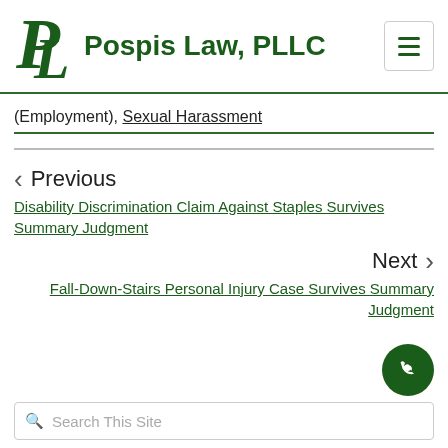Pospis Law, PLLC
(Employment), Sexual Harassment
Previous
Disability Discrimination Claim Against Staples Survives Summary Judgment
Next
Fall-Down-Stairs Personal Injury Case Survives Summary Judgment